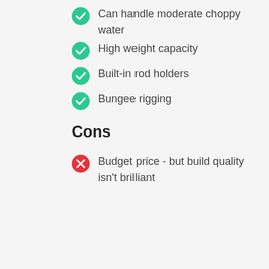Can handle moderate choppy water
High weight capacity
Built-in rod holders
Bungee rigging
Cons
Budget price - but build quality isn't brilliant